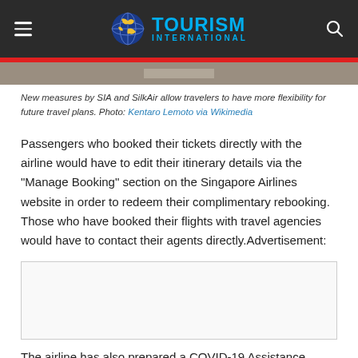TOURISM INTERNATIONAL
[Figure (photo): Narrow aerial/top-down strip of landscape, likely a road or path, partially visible at top of content area]
New measures by SIA and SilkAir allow travelers to have more flexibility for future travel plans. Photo: Kentaro Lemoto via Wikimedia
Passengers who booked their tickets directly with the airline would have to edit their itinerary details via the "Manage Booking" section on the Singapore Airlines website in order to redeem their complimentary rebooking. Those who have booked their flights with travel agencies would have to contact their agents directly.Advertisement:
[Figure (other): Advertisement box (blank/placeholder)]
The airline has also prepared a COVID-19 Assistance Request form on its official website for any pertinent questions customers